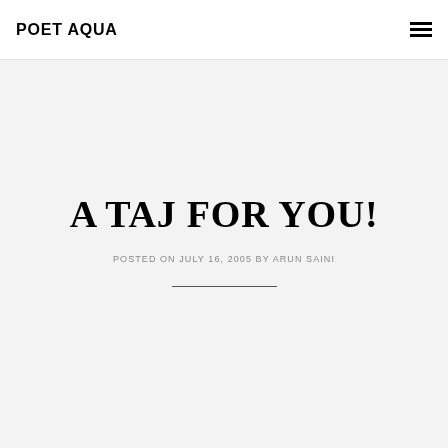POET AQUA
A TAJ FOR YOU!
POSTED ON JULY 16, 2005 BY ARUN SAINI